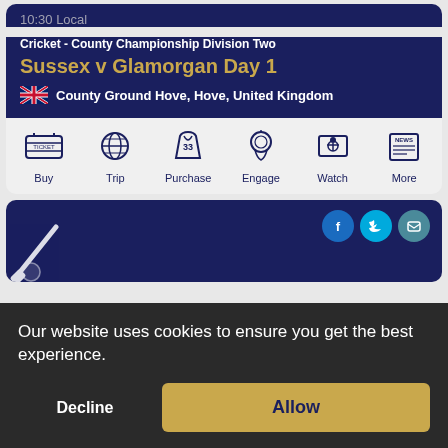10:30 Local
Cricket - County Championship Division Two
Sussex v Glamorgan Day 1
County Ground Hove, Hove, United Kingdom
[Figure (infographic): Action bar with icons: Buy (ticket), Trip (globe), Purchase (jersey), Engage (coin/trophy), Watch (TV/person), More (newspaper)]
[Figure (infographic): Social media icons: Facebook, Twitter, Email circles. Cricket bat and ball icon bottom left.]
Our website uses cookies to ensure you get the best experience.
Decline
Allow